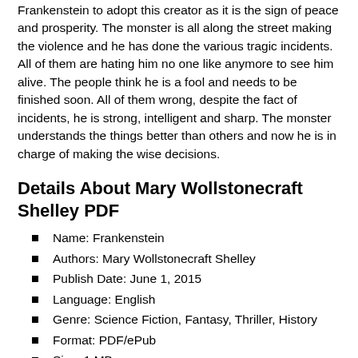Frankenstein to adopt this creator as it is the sign of peace and prosperity. The monster is all along the street making the violence and he has done the various tragic incidents. All of them are hating him no one like anymore to see him alive. The people think he is a fool and needs to be finished soon. All of them wrong, despite the fact of incidents, he is strong, intelligent and sharp. The monster understands the things better than others and now he is in charge of making the wise decisions.
Details About Mary Wollstonecraft Shelley PDF
Name: Frankenstein
Authors: Mary Wollstonecraft Shelley
Publish Date: June 1, 2015
Language: English
Genre: Science Fiction, Fantasy, Thriller, History
Format: PDF/ePub
Size: 1 MB